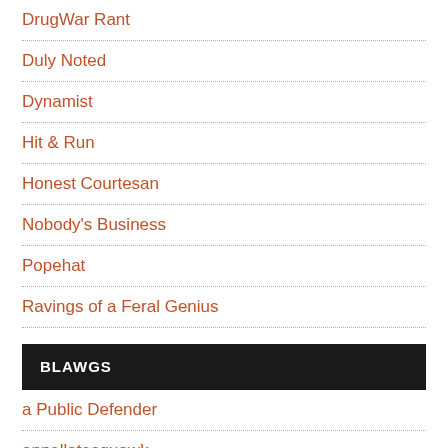DrugWar Rant
Duly Noted
Dynamist
Hit & Run
Honest Courtesan
Nobody's Business
Popehat
Ravings of a Feral Genius
BLAWGS
a Public Defender
appellatesquawk